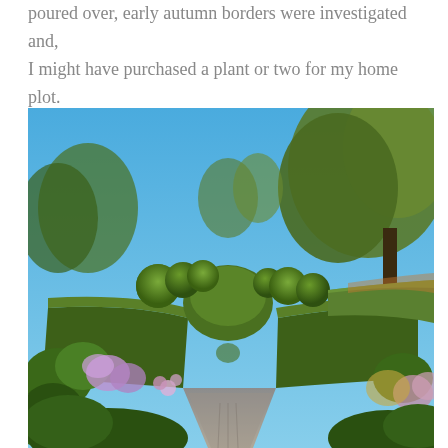poured over, early autumn borders were investigated and, I might have purchased a plant or two for my home plot.
[Figure (photo): A garden pathway flanked by flowering borders and neatly clipped topiary hedges with rounded ball shapes on top, leading into the distance under a clear blue sky, with large trees visible in the background.]